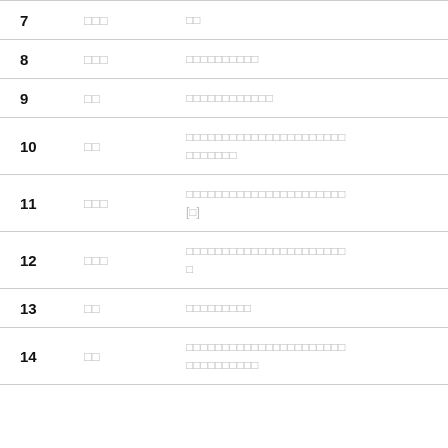| # | Name | Description | Page |
| --- | --- | --- | --- |
| 7 | □□□ | □□ | 56 |
| 8 | □□□ | □□□□□□□□□□ | 56 |
| 9 | □□ | □□□□□□□□□□□□ | 52 |
| 10 | □□ | □□□□□□□□□□□□□□□□□□□□□□ □□□□□□□ | 52 |
| 11 | □□□ | □□□□□□□□□□□□□□□□□□□□□□ [□] | 48 |
| 12 | □□□ | □□□□□□□□□□□□□□□□□□□□□□ □ | 48 |
| 13 | □□ | □□□□□□□□□ | 48 |
| 14 | □□ | □□□□□□□□□□□□□□□□□□□□□□ □□□□□□□□□□ | 48 |